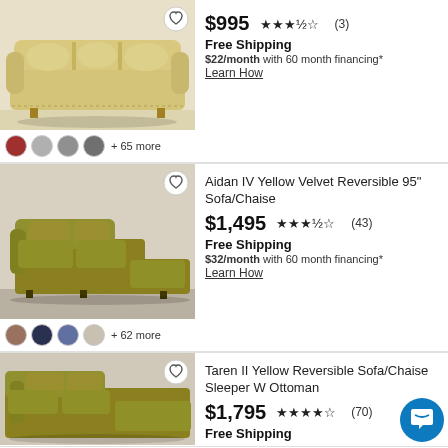[Figure (photo): Beige/tan traditional sofa with rolled arms and three cushions]
$995  ★★★½☆ (3)
Free Shipping
$22/month with 60 month financing*
Learn How
+ 65 more
[Figure (photo): Aidan IV Yellow Velvet Reversible 95" Sofa/Chaise in mustard yellow velvet]
Aidan IV Yellow Velvet Reversible 95" Sofa/Chaise
$1,495  ★★★½☆ (43)
Free Shipping
$32/month with 60 month financing*
Learn How
+ 62 more
[Figure (photo): Taren II Yellow Reversible Sofa/Chaise Sleeper W Ottoman in mustard yellow]
Taren II Yellow Reversible Sofa/Chaise Sleeper W Ottoman
$1,795  ★★★★☆ (70)
Free Shipping